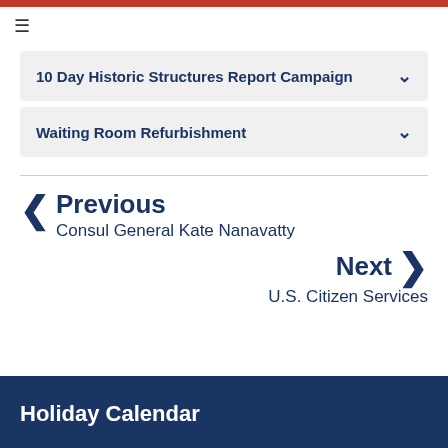≡
10 Day Historic Structures Report Campaign
Waiting Room Refurbishment
Previous
Consul General Kate Nanavatty
Next
U.S. Citizen Services
Holiday Calendar